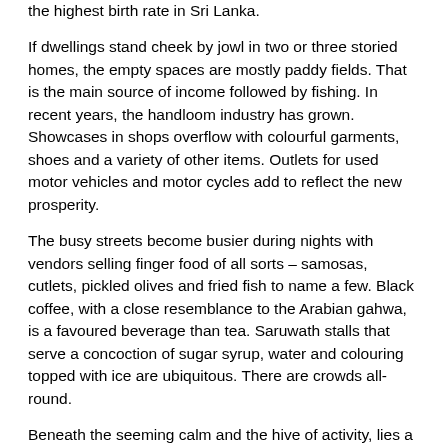the highest birth rate in Sri Lanka.
If dwellings stand cheek by jowl in two or three storied homes, the empty spaces are mostly paddy fields. That is the main source of income followed by fishing. In recent years, the handloom industry has grown. Showcases in shops overflow with colourful garments, shoes and a variety of other items. Outlets for used motor vehicles and motor cycles add to reflect the new prosperity.
The busy streets become busier during nights with vendors selling finger food of all sorts – samosas, cutlets, pickled olives and fried fish to name a few. Black coffee, with a close resemblance to the Arabian gahwa, is a favoured beverage than tea. Saruwath stalls that serve a concoction of sugar syrup, water and colouring topped with ice are ubiquitous. There are crowds all-round.
Beneath the seeming calm and the hive of activity, lies a boiling cauldron. It is heating up threatening to spill into sectarian violence within the Muslims. The reasons, unlike the July 24 incidents in the village of Mahagoda in Beruwala, are not ideological alone. There, a Moulavi (cleric) of the Masjidur Rahman, belonging to the now well-known Tawheed group, preached a Friday (Jumma prayer) sermon, which, a rival group alleged, provoked their devotees – devotees of the neighbouring